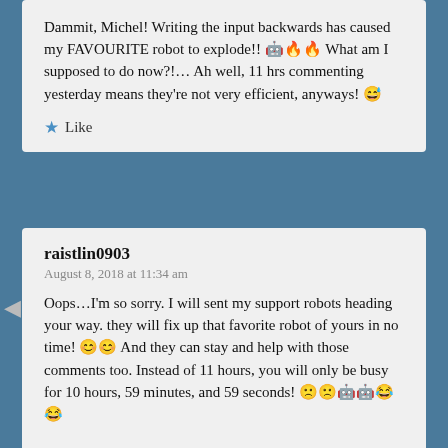Dammit, Michel! Writing the input backwards has caused my FAVOURITE robot to explode!! 🤖🔥🔥 What am I supposed to do now?!… Ah well, 11 hrs commenting yesterday means they're not very efficient, anyways! 😅
★ Like
raistlin0903
August 8, 2018 at 11:34 am
Oops…I'm so sorry. I will sent my support robots heading your way. they will fix up that favorite robot of yours in no time! 😊😊 And they can stay and help with those comments too. Instead of 11 hours, you will only be busy for 10 hours, 59 minutes, and 59 seconds! 🙁🙁🤖🤖😂😂